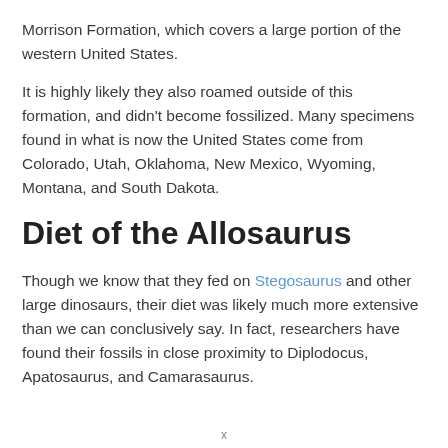Morrison Formation, which covers a large portion of the western United States.
It is highly likely they also roamed outside of this formation, and didn't become fossilized. Many specimens found in what is now the United States come from Colorado, Utah, Oklahoma, New Mexico, Wyoming, Montana, and South Dakota.
Diet of the Allosaurus
Though we know that they fed on Stegosaurus and other large dinosaurs, their diet was likely much more extensive than we can conclusively say. In fact, researchers have found their fossils in close proximity to Diplodocus, Apatosaurus, and Camarasaurus.
x